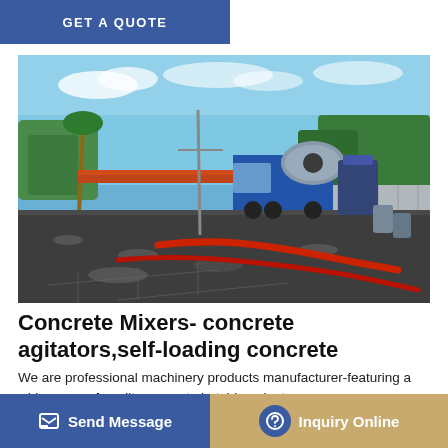GET A QUOTE
[Figure (photo): Construction site photograph showing a concrete mixing truck with red hoses laid out on a gravel foundation area, surrounded by fencing and trees under a blue sky.]
Concrete Mixers- concrete agitators,self-loading concrete
We are professional machinery products manufacturer-featuring a wide range of quality concrete batching plant, concrete pu... 0, 60, concrete batching plant, also a wide range of mobile concrete
Send Message
Inquiry Online